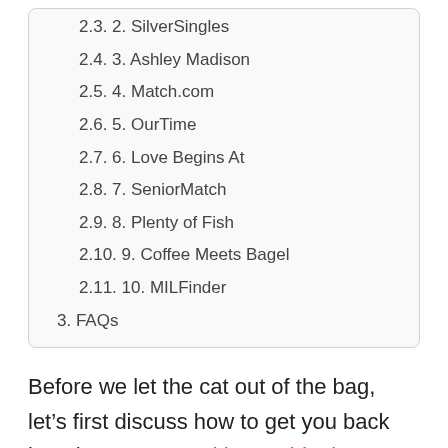2.3. 2. SilverSingles
2.4. 3. Ashley Madison
2.5. 4. Match.com
2.6. 5. OurTime
2.7. 6. Love Begins At
2.8. 7. SeniorMatch
2.9. 8. Plenty of Fish
2.10. 9. Coffee Meets Bagel
2.11. 10. MILFinder
3. FAQs
Before we let the cat out of the bag, let’s first discuss how to get you back into the game. Seeking an ideal partner in your 40s or 50s is common but dating for mature singles can be a challenge. Maybe you have been recently